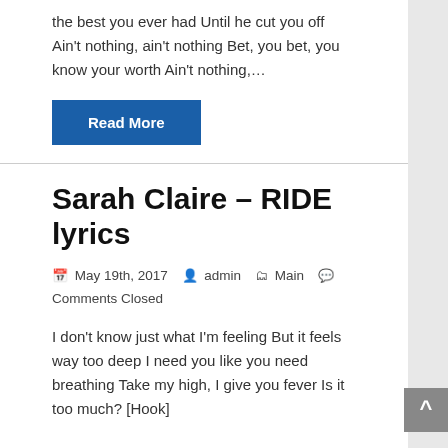the best you ever had Until he cut you off Ain't nothing, ain't nothing Bet, you bet, you know your worth Ain't nothing,…
Read More
Sarah Claire – RIDE lyrics
May 19th, 2017  admin  Main  Comments Closed
I don't know just what I'm feeling But it feels way too deep I need you like you need breathing Take my high, I give you fever Is it too much? [Hook]